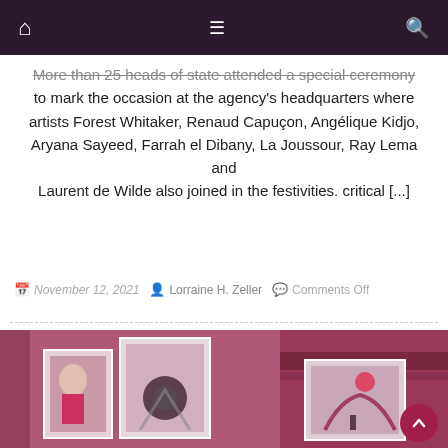Navigation bar with home, menu, and search icons
More than 25 heads of state attended a special ceremony to mark the occasion at the agency's headquarters where artists Forest Whitaker, Renaud Capuçon, Angélique Kidjo, Aryana Sayeed, Farrah el Dibany, La Joussour, Ray Lema and Laurent de Wilde also joined in the festivities. critical [...]
November 12, 2021 · Lorraine H. Zeller · Comments Off
[Figure (photo): Art gallery interior showing paintings on reddish-maroon textured walls, including figurative artworks and landscape paintings.]